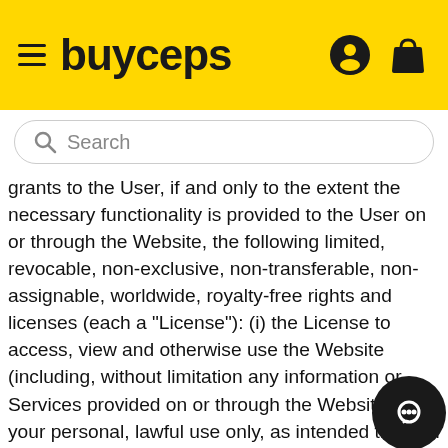buyceps
grants to the User, if and only to the extent the necessary functionality is provided to the User on or through the Website, the following limited, revocable, non-exclusive, non-transferable, non-assignable, worldwide, royalty-free rights and licenses (each a "License"): (i) the License to access, view and otherwise use the Website (including, without limitation any information or Services provided on or through the Website) for your personal, lawful use only, as intended through the normal functionality of the Website; (ii) the License to obtain a registered personal account (and the related username and password) on the Website and interact with other Website Users as part of Website-based chat rooms, message boards, social